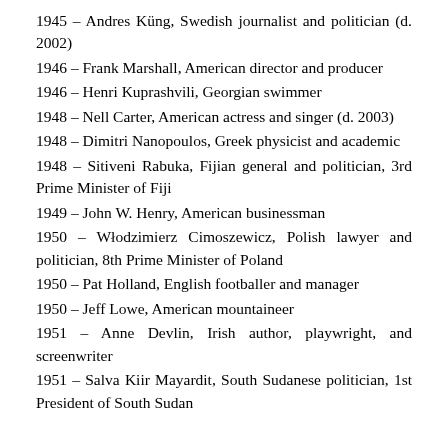1945 – Andres Küng, Swedish journalist and politician (d. 2002)
1946 – Frank Marshall, American director and producer
1946 – Henri Kuprashvili, Georgian swimmer
1948 – Nell Carter, American actress and singer (d. 2003)
1948 – Dimitri Nanopoulos, Greek physicist and academic
1948 – Sitiveni Rabuka, Fijian general and politician, 3rd Prime Minister of Fiji
1949 – John W. Henry, American businessman
1950 – Włodzimierz Cimoszewicz, Polish lawyer and politician, 8th Prime Minister of Poland
1950 – Pat Holland, English footballer and manager
1950 – Jeff Lowe, American mountaineer
1951 – Anne Devlin, Irish author, playwright, and screenwriter
1951 – Salva Kiir Mayardit, South Sudanese politician, 1st President of South Sudan